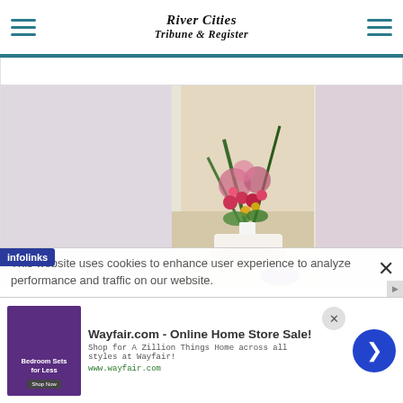River Cities Tribune & Register
[Figure (photo): A floral arrangement in a white pot with tall green leaves and colorful flowers including pink, purple and red blooms, sitting on a table with a purple ribbon/award placed in front.]
This website uses cookies to enhance user experience to analyze performance and traffic on our website.
[Figure (logo): infolinks logo badge in blue/purple]
[Figure (screenshot): Wayfair.com advertisement - Online Home Store Sale! Shop for A Zillion Things Home across all styles at Wayfair! www.wayfair.com]